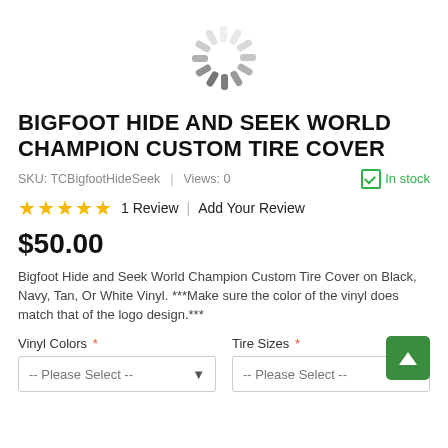[Figure (other): Loading spinner icon (gray radial lines in a circular pattern)]
BIGFOOT HIDE AND SEEK WORLD CHAMPION CUSTOM TIRE COVER
SKU: TCBigfootHideSeek  |  Views: 0  ✓ In stock
★★★★★ 1 Review | Add Your Review
$50.00
Bigfoot Hide and Seek World Champion Custom Tire Cover on Black, Navy, Tan, Or White Vinyl. ***Make sure the color of the vinyl does match that of the logo design.***
Vinyl Colors * -- Please Select --
Tire Sizes * -- Please Select --